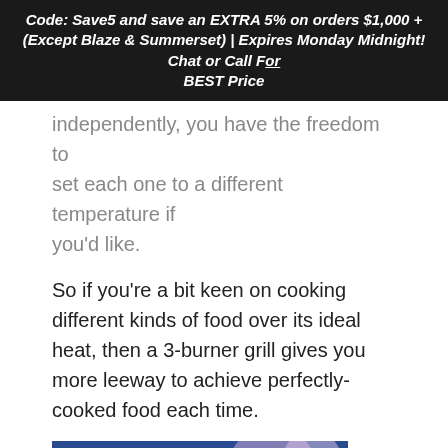Code: Save5 and save an EXTRA 5% on orders $1,000 + (Except Blaze & Summerset) | Expires Monday Midnight! Chat or Call For BEST Price
independently, you have the freedom to set each one to a different temperature if you'd like.
So if you're a bit keen on cooking different kinds of food over its ideal heat, then a 3-burner grill gives you more leeway to achieve perfectly-cooked food each time.
[Figure (photo): Close-up photo of food skewers/kebabs on a grill with colorful vegetables, blue background, with a Close X button overlay]
Acuerdo de la demanda colectiva por $82 Millones SI USTED COMPRO O ARRENDO UN AUTOMÓVIL O CAMIÓN NUEVO EN CALIFORNIA DESDE 2001 A 2003